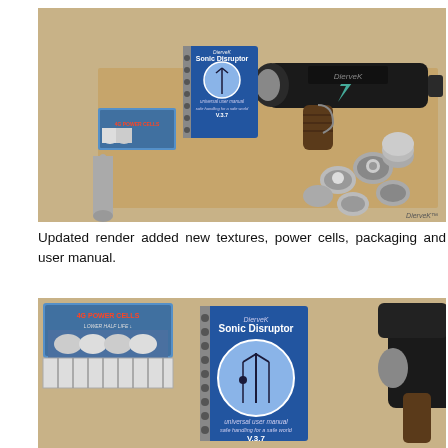[Figure (illustration): 3D render of a Sonic Disruptor ray gun (DierveK brand) with power cells in packaging, a user manual booklet, and scattered circular power cell discs arranged on a cork/tan surface. The gun is black with a lightning bolt logo. Items include '4G Power Cells' box and 'Sonic Disruptor universal user manual V.3.7' booklet.]
Updated render added new textures, power cells, packaging and user manual.
[Figure (illustration): Close-up 3D render showing the '4G Power Cells Lower Half Life' packaging with rolled power cells, and the 'DierveK Sonic Disruptor universal user manual safe handling for a safe world V.3.7' blue booklet, alongside the body of the Sonic Disruptor gun.]